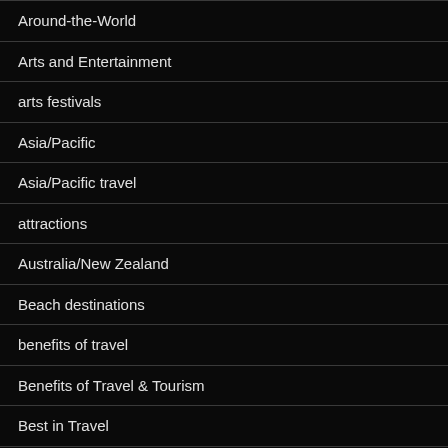Around-the-World
Arts and Entertainment
arts festivals
Asia/Pacific
Asia/Pacific travel
attractions
Australia/New Zealand
Beach destinations
benefits of travel
Benefits of Travel & Tourism
Best in Travel
bike trips